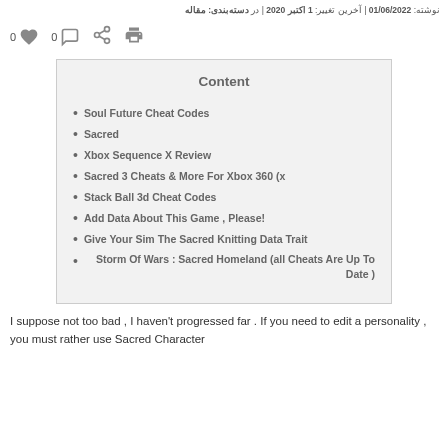نوشته: 01/06/2022 | آخرین تغییر: 1 اکتبر 2020 | در دسته‌بندی: مقاله
[Figure (other): Social interaction icons: heart (0), comment (0), share, print]
Content
Soul Future Cheat Codes
Sacred
Xbox Sequence X Review
Sacred 3 Cheats & More For Xbox 360 (x
Stack Ball 3d Cheat Codes
!Add Data About This Game , Please
Give Your Sim The Sacred Knitting Data Trait
Storm Of Wars : Sacred Homeland (all Cheats Are Up To Date )
I suppose not too bad , I haven't progressed far . If you need to edit a personality , you must rather use Sacred Character